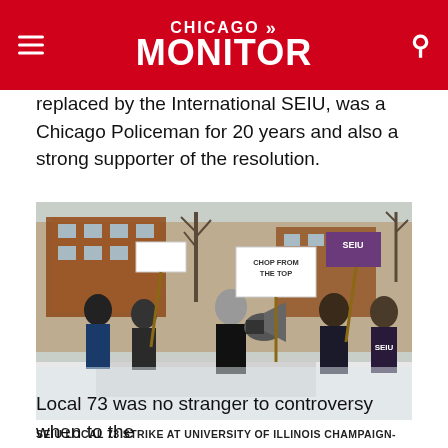CHICAGO MONITOR
replaced by the International SEIU, was a Chicago Policeman for 20 years and also a strong supporter of the resolution.
[Figure (photo): Outdoor winter protest scene showing a crowd of people carrying SEIU signs and picket placards, with a person speaking through a megaphone in the foreground. A brick building and bare trees are visible in the background. Signs include 'SEIU' and 'CHOP FROM THE TOP'.]
SEIU LOCAL 73 STRIKE AT UNIVERSITY OF ILLINOIS CHAMPAIGN-URBANA
Local 73 was no stranger to controversy when to the